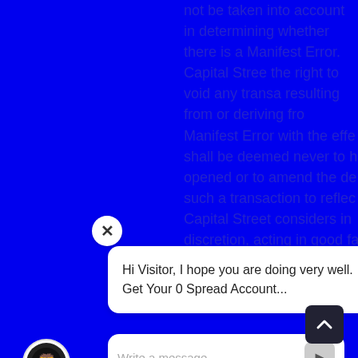not be taken into account in determining whether there is a Manifest Error. Capital Street has the right to void any transaction resulting from or deriving from a Manifest Error with the effect it shall be deemed never to have opened or to amend the details of such a transaction to reflect what Capital Street considers in its discretion, acting in good faith on fair terms for both parties, to represent such Ma...
Hi Visitor, I hope you are doing very well. Get Your 0 Spread Account...
Write a message...
reet shall in no circumstances, except for liability for fraud or willful default be lia...